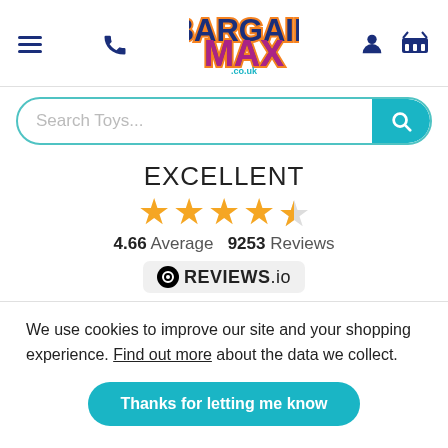[Figure (logo): BargainMax.co.uk logo with navigation icons: hamburger menu, phone, user account, and basket]
[Figure (other): Search bar with placeholder 'Search Toys...' and teal search button]
EXCELLENT
[Figure (other): 4.5 out of 5 orange stars rating display]
4.66 Average   9253 Reviews
[Figure (logo): REVIEWS.io badge logo]
We use cookies to improve our site and your shopping experience. Find out more about the data we collect.
Thanks for letting me know